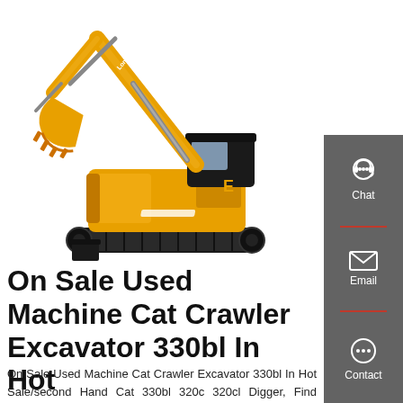[Figure (photo): Yellow/orange crawler excavator (Cat-style) with extended arm and bucket, black undercarriage with tracks, white background product photo]
On Sale Used Machine Cat Crawler Excavator 330bl In Hot
On Sale Used Machine Cat Crawler Excavator 330bl In Hot Sale/second Hand Cat 330bl 320c 320cl Digger, Find Complete Details about On Sale Used